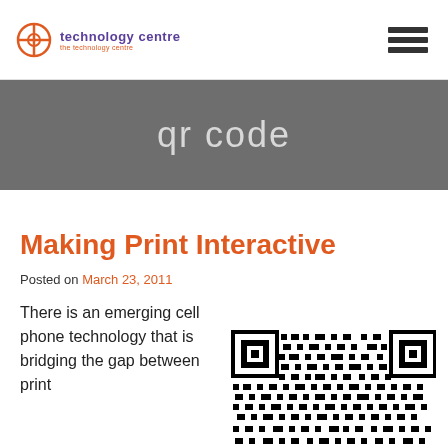technology centre
qr code
Making Print Interactive
Posted on March 23, 2011
There is an emerging cell phone technology that is bridging the gap between print
[Figure (other): QR code image in black and white]